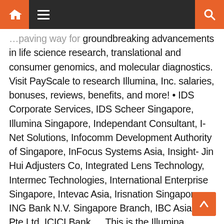Navigation bar with home, menu, and search icons
…paving way for groundbreaking advancements in life science research, translational and consumer genomics, and molecular diagnostics. Visit PayScale to research Illumina, Inc. salaries, bonuses, reviews, benefits, and more! • IDS Corporate Services, IDS Scheer Singapore, Illumina Singapore, Independant Consultant, I-Net Solutions, Infocomm Development Authority of Singapore, InFocus Systems Asia, Insight- Jin Hui Adjusters Co, Integrated Lens Technology, Intermec Technologies, International Enterprise Singapore, Intevac Asia, Irisnation Singapore, ING Bank N.V. Singapore Branch, IBC Asia (S) Pte Ltd, ICICI Bank … This is the Illumina company profile. What we are doing at Illumina is challenging, but it's worth it because we are improving the future for humanity. Illumina is improving human health by